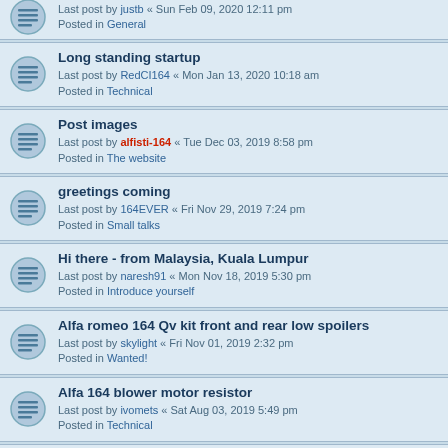Last post by justb « Sun Feb 09, 2020 12:11 pm
Posted in General
Long standing startup
Last post by RedCI164 « Mon Jan 13, 2020 10:18 am
Posted in Technical
Post images
Last post by alfisti-164 « Tue Dec 03, 2019 8:58 pm
Posted in The website
greetings coming
Last post by 164EVER « Fri Nov 29, 2019 7:24 pm
Posted in Small talks
Hi there - from Malaysia, Kuala Lumpur
Last post by naresh91 « Mon Nov 18, 2019 5:30 pm
Posted in Introduce yourself
Alfa romeo 164 Qv kit front and rear low spoilers
Last post by skylight « Fri Nov 01, 2019 2:32 pm
Posted in Wanted!
Alfa 164 blower motor resistor
Last post by ivomets « Sat Aug 03, 2019 5:49 pm
Posted in Technical
Q4 and standalone ECU.
Last post by finalfa « Tue Jul 30, 2019 6:58 pm
Posted in Technical
164 front springs
Last post by MikeCZ « Tue Jul 09, 2019 8:23 am
Posted in For sale (Parts)